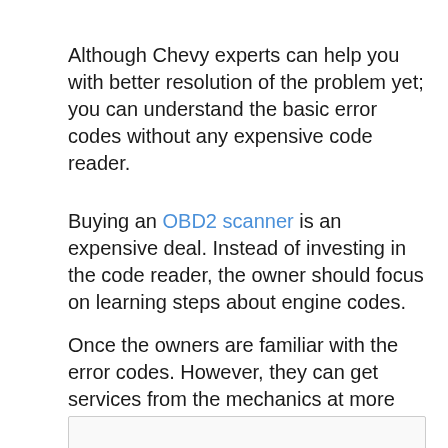Although Chevy experts can help you with better resolution of the problem yet; you can understand the basic error codes without any expensive code reader.
Buying an OBD2 scanner is an expensive deal. Instead of investing in the code reader, the owner should focus on learning steps about engine codes.
Once the owners are familiar with the error codes. However, they can get services from the mechanics at more affordable rates.
[Figure (other): Empty bordered box at the bottom of the page]